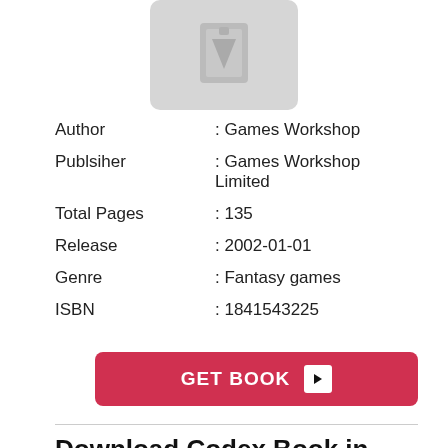[Figure (illustration): Gray placeholder book cover image with a book icon in the center]
Author : Games Workshop
Publsiher : Games Workshop Limited
Total Pages : 135
Release : 2002-01-01
Genre : Fantasy games
ISBN : 1841543225
GET BOOK ▶
Download Codex Book in PDF, Epub and Kindle